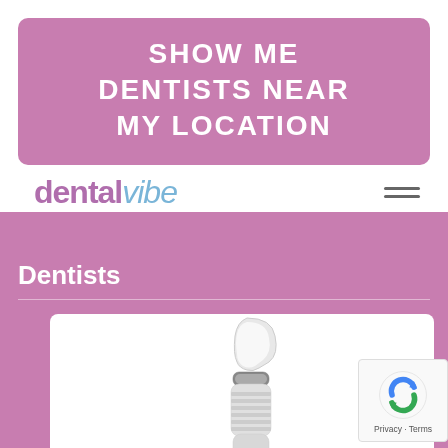SHOW ME DENTISTS NEAR MY LOCATION
[Figure (logo): dentalvibe logo with purple 'dental' and light blue italic 'vibe' text, plus hamburger menu icon]
Dentists
[Figure (photo): Dental instrument / water irrigator tip close-up on white background]
[Figure (other): Google reCAPTCHA badge with Privacy and Terms links]